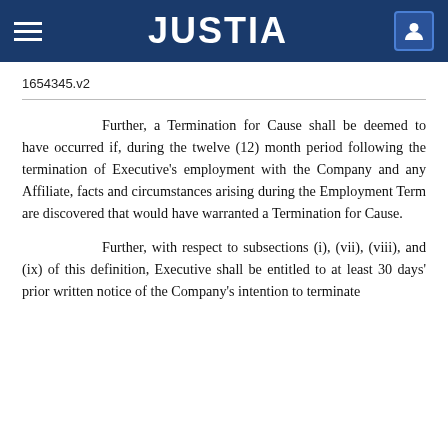JUSTIA
1654345.v2
Further, a Termination for Cause shall be deemed to have occurred if, during the twelve (12) month period following the termination of Executive’s employment with the Company and any Affiliate, facts and circumstances arising during the Employment Term are discovered that would have warranted a Termination for Cause.
Further, with respect to subsections (i), (vii), (viii), and (ix) of this definition, Executive shall be entitled to at least 30 days’ prior written notice of the Company’s intention to terminate